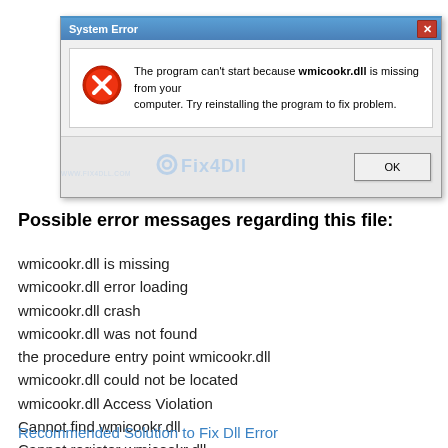[Figure (screenshot): Windows System Error dialog box showing: 'The program can't start because wmicookr.dll is missing from your computer. Try reinstalling the program to fix problem.' with a red X error icon, OK button, and Fix4Dll watermark.]
Possible error messages regarding this file:
wmicookr.dll is missing
wmicookr.dll error loading
wmicookr.dll crash
wmicookr.dll was not found
the procedure entry point wmicookr.dll
wmicookr.dll could not be located
wmicookr.dll Access Violation
Cannot find wmicookr.dll
Cannot register wmicookr.dll
Recommended Solution to Fix Dll Error